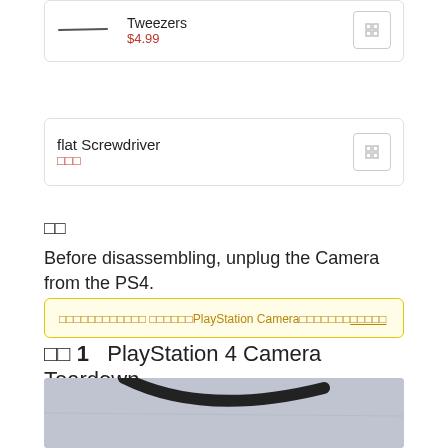Tweezers $4.99
flat Screwdriver □□□
□□
Before disassembling, unplug the Camera from the PS4.
□□□□□□□□□□□□ □□□□□□PlayStation Camera□□□□□□□□□□□□
□□ 1  PlayStation 4 Camera Teardown
[Figure (photo): Photo of a camera cable/wire on a grey surface]